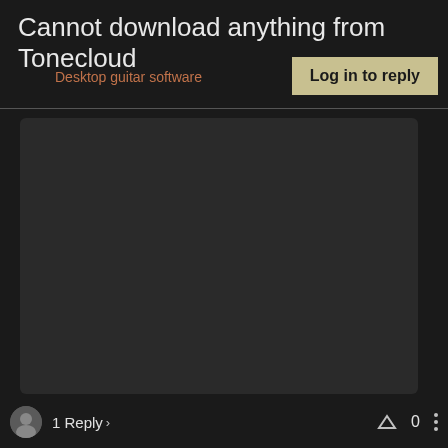Cannot download anything from Tonecloud
Desktop guitar software
Log in to reply
[Figure (screenshot): Dark content area box, empty post body area with dark background]
1 Reply
0